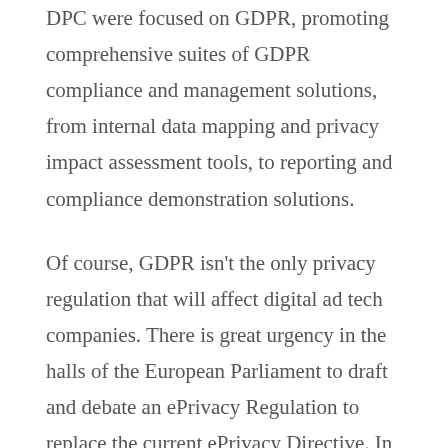DPC were focused on GDPR, promoting comprehensive suites of GDPR compliance and management solutions, from internal data mapping and privacy impact assessment tools, to reporting and compliance demonstration solutions.
Of course, GDPR isn't the only privacy regulation that will affect digital ad tech companies. There is great urgency in the halls of the European Parliament to draft and debate an ePrivacy Regulation to replace the current ePrivacy Directive. In a panel addressing the “perfect storm” of the GDPR and ePrivacy Regulation, several policymakers offered guidance for companies.
The EU Commission’s Rosa Barcelo and Karolina